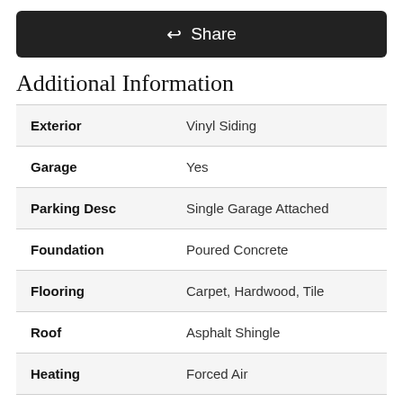[Figure (other): Dark share button with share icon and text 'Share']
Additional Information
| Property | Value |
| --- | --- |
| Exterior | Vinyl Siding |
| Garage | Yes |
| Parking Desc | Single Garage Attached |
| Foundation | Poured Concrete |
| Flooring | Carpet, Hardwood, Tile |
| Roof | Asphalt Shingle |
| Heating | Forced Air |